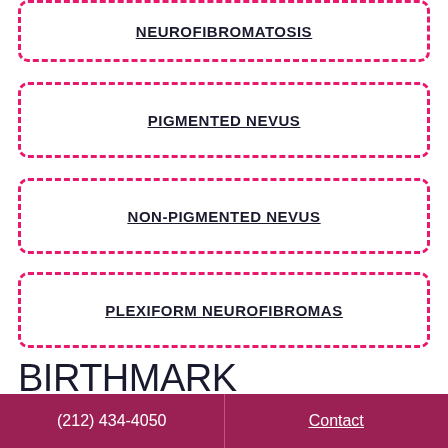NEUROFIBROMATOSIS
PIGMENTED NEVUS
NON-PIGMENTED NEVUS
PLEXIFORM NEUROFIBROMAS
BIRTHMARK SPECIALISTS IN NEW YORK
(212) 434-4050   Contact